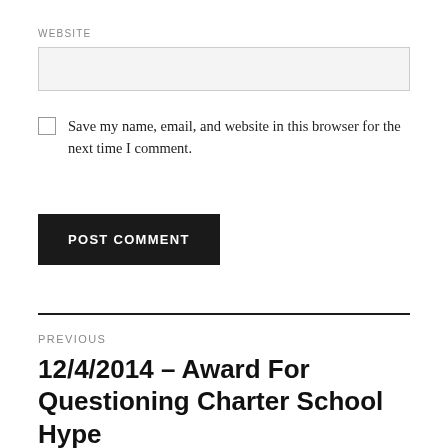WEBSITE
Save my name, email, and website in this browser for the next time I comment.
POST COMMENT
PREVIOUS
12/4/2014 – Award For Questioning Charter School Hype